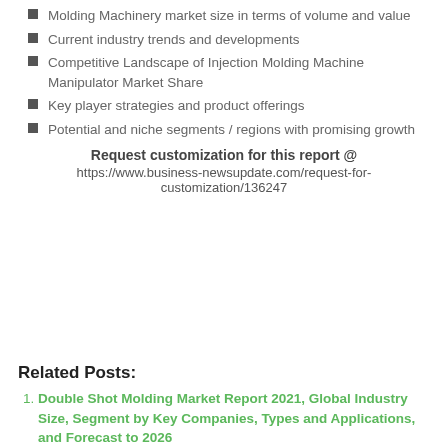Molding Machinery market size in terms of volume and value
Current industry trends and developments
Competitive Landscape of Injection Molding Machine Manipulator Market Share
Key player strategies and product offerings
Potential and niche segments / regions with promising growth
Request customization for this report @ https://www.business-newsupdate.com/request-for-customization/136247
Related Posts:
Double Shot Molding Market Report 2021, Global Industry Size, Segment by Key Companies, Types and Applications, and Forecast to 2026